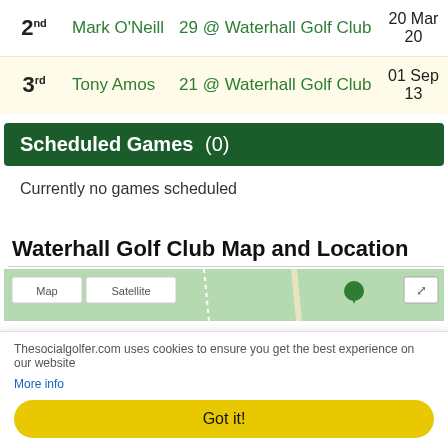| Rank | Name | Course | Date |
| --- | --- | --- | --- |
| 2nd | Mark O'Neill | 29 @ Waterhall Golf Club | 20 Mar 20 |
| 3rd | Tony Amos | 21 @ Waterhall Golf Club | 01 Sep 13 |
Scheduled Games (0)
Currently no games scheduled
Waterhall Golf Club Map and Location
[Figure (map): Map of Waterhall Golf Club area, showing green map tiles with road overlay and map/satellite tab controls]
Thesocialgolfer.com uses cookies to ensure you get the best experience on our website More info
Got it!